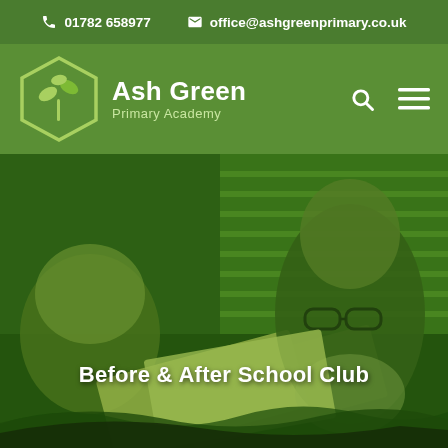📞 01782 658977   ✉ office@ashgreenprimary.co.uk
[Figure (logo): Ash Green Primary Academy logo: hexagon with leaf/plant icon, school name and subtitle in white on green navigation bar with search and hamburger menu icons]
[Figure (photo): Green-tinted photo of children reading books in a classroom, with a girl wearing glasses prominently visible reading an Oxford book]
Before & After School Club